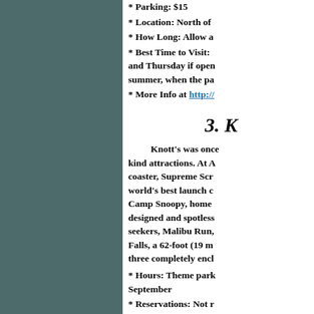* Parking: $15
* Location: North of
* How Long: Allow a
* Best Time to Visit: and Thursday if open summer, when the pa
* More Info at http://
3. K
Knott's was once kind attractions. At A coaster, Supreme Scr world's best launch c Camp Snoopy, home designed and spotless seekers, Malibu Run, Falls, a 62-foot (19 m three completely encl
* Hours: Theme park September
* Reservations: Not r
* 2008 Cost: Single D